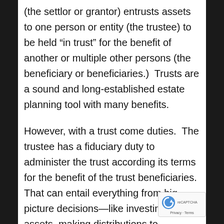(the settlor or grantor) entrusts assets to one person or entity (the trustee) to be held “in trust” for the benefit of another or multiple other persons (the beneficiary or beneficiaries.)  Trusts are a sound and long-established estate planning tool with many benefits.
However, with a trust come duties.  The trustee has a fiduciary duty to administer the trust according its terms for the benefit of the trust beneficiaries.  That can entail everything from big picture decisions—like investing trust assets, making distributions to beneficiaries, and hiring professional advisors–to day-to-day details like balancing trust checking accounts, paying bills, and making sure trust assets are properly insured.  While being named a trustee